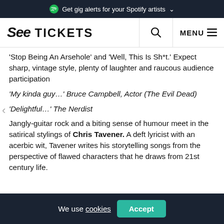Get gig alerts for your Spotify artists
[Figure (screenshot): See Tickets navigation bar with logo, search icon, and menu]
'Stop Being An Arsehole' and 'Well, This Is Sh*t.' Expect sharp, vintage style, plenty of laughter and raucous audience participation
'My kinda guy…' Bruce Campbell, Actor (The Evil Dead)
'Delightful…' The Nerdist
Jangly-guitar rock and a biting sense of humour meet in the satirical stylings of Chris Tavener. A deft lyricist with an acerbic wit, Tavener writes his storytelling songs from the perspective of flawed characters that he draws from 21st century life.
We use cookies  Accept